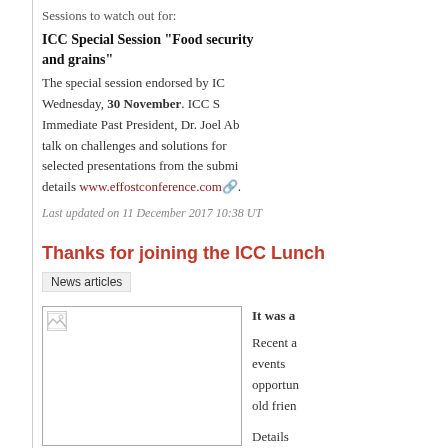Sessions to watch out for:
ICC Special Session "Food security and grains"
The special session endorsed by IC… Wednesday, 30 November. ICC S… Immediate Past President, Dr. Joel Ab… talk on challenges and solutions for … selected presentations from the submi… details www.effostconference.com.
Last updated on 11 December 2017 10:38 UT
Thanks for joining the ICC Lunch
News articles
[Figure (photo): Broken/placeholder image thumbnail]
It was a
Recent a… events … opportun… old frien…
Details